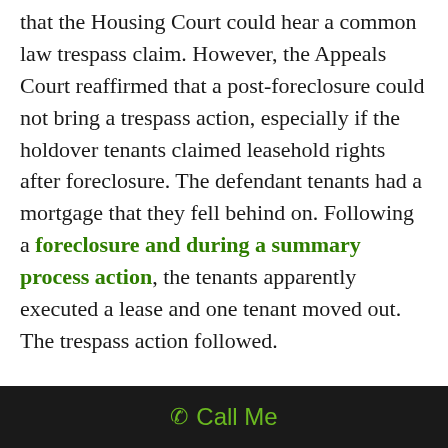that the Housing Court could hear a common law trespass claim. However, the Appeals Court reaffirmed that a post-foreclosure could not bring a trespass action, especially if the holdover tenants claimed leasehold rights after foreclosure. The defendant tenants had a mortgage that they fell behind on. Following a foreclosure and during a summary process action, the tenants apparently executed a lease and one tenant moved out. The trespass action followed.

The Appeals Court recalled that the scope of the subject matter jurisdiction of the Housing
📞 Call Me